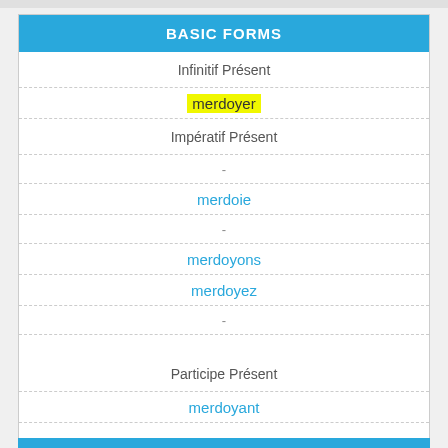BASIC FORMS
| Infinitif Présent |
| merdoyer |
| Impératif Présent |
| - |
| merdoie |
| - |
| merdoyons |
| merdoyez |
| - |
| Participe Présent |
| merdoyant |
Indicatif